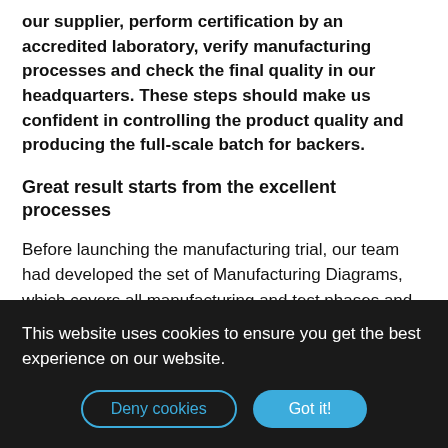our supplier, perform certification by an accredited laboratory, verify manufacturing processes and check the final quality in our headquarters. These steps should make us confident in controlling the product quality and producing the full-scale batch for backers.
Great result starts from the excellent processes
Before launching the manufacturing trial, our team had developed the set of Manufacturing Diagrams, which covers all manufacturing and test phases and guides the supplier along the way. It allows the manufacturer partner to meet our quality expectations at every stage of the process.
This website uses cookies to ensure you get the best experience on our website.